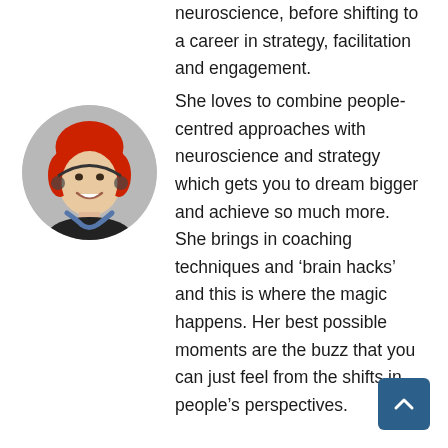neuroscience, before shifting to a career in strategy, facilitation and engagement.
[Figure (photo): Circular portrait photo of a woman with red hair and a red headband, smiling, wearing a dark top]
She loves to combine people-centred approaches with neuroscience and strategy which gets you to dream bigger and achieve so much more. She brings in coaching techniques and ‘brain hacks’ and this is where the magic happens. Her best possible moments are the buzz that you can just feel from the shifts in people’s perspectives.